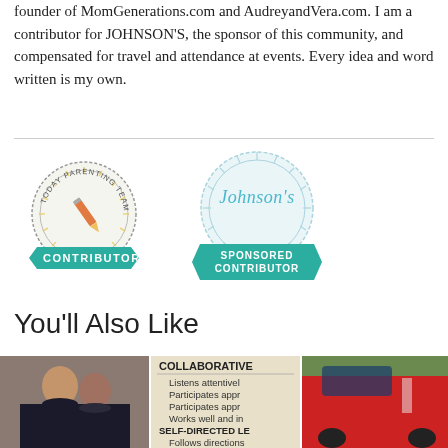founder of MomGenerations.com and AudreyandVera.com. I am a contributor for JOHNSON'S, the sponsor of this community, and compensated for travel and attendance at events. Every idea and word written is my own.
[Figure (logo): Today Parenting Team Contributor badge (circular badge with pencil icon and teal ribbon) and Johnson's Sponsored Contributor badge (circular badge with Johnson's script logo and teal ribbon)]
You'll Also Like
[Figure (photo): Photo of a woman and two children hugging, posed portrait]
[Figure (photo): Photo of a school report card or assessment document showing COLLABORATIVE and SELF-DIRECTED LEARNER categories]
[Figure (photo): Photo of a red car with a person standing next to it outdoors]